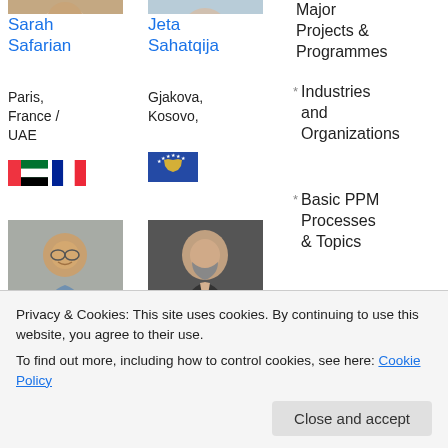[Figure (photo): Photo of Sarah Safarian (partial, top cropped)]
[Figure (photo): Photo of Jeta Sahatqija (partial, top cropped)]
Sarah Safarian
Paris, France / UAE
[Figure (illustration): UAE flag and French flag icons]
Jeta Sahatqija
Gjakova, Kosovo,
[Figure (illustration): Kosovo flag icon]
Major Projects & Programmes
Industries and Organizations
Basic PPM Processes & Topics
Advanced / Hot Topics in PPM
PM...
[Figure (photo): Photo of a smiling older man with glasses]
[Figure (photo): Photo of a man in dark suit]
Privacy & Cookies: This site uses cookies. By continuing to use this website, you agree to their use. To find out more, including how to control cookies, see here: Cookie Policy
Close and accept